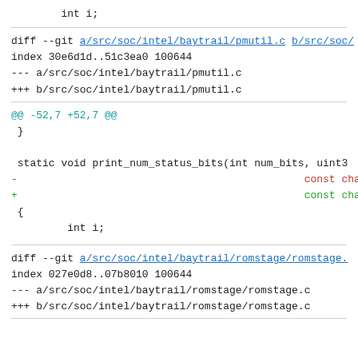int i;
diff --git a/src/soc/intel/baytrail/pmutil.c b/src/soc/intel/baytrail/pmutil.c
index 30e6d1d..51c3ea0 100644
--- a/src/soc/intel/baytrail/pmutil.c
+++ b/src/soc/intel/baytrail/pmutil.c
@@ -52,7 +52,7 @@
 }

  static void print_num_status_bits(int num_bits, uint3
-                                              const char *bit_nam
+                                              const char *bit_name
  {
          int i;
diff --git a/src/soc/intel/baytrail/romstage/romstage.c b/src/soc/intel/baytrail/romstage/romstage.c
index 027e0d8..07b8010 100644
--- a/src/soc/intel/baytrail/romstage/romstage.c
+++ b/src/soc/intel/baytrail/romstage/romstage.c